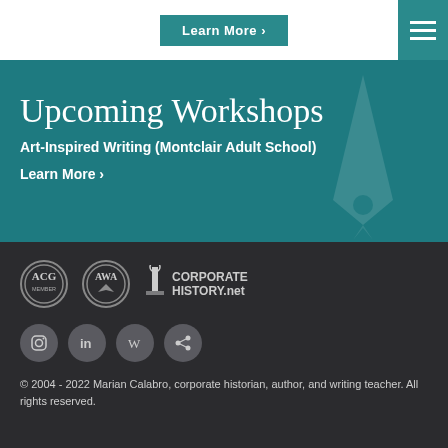Learn More ›
Upcoming Workshops
Art-Inspired Writing (Montclair Adult School)
Learn More ›
[Figure (logo): ACG Member logo circle, AWA logo circle, Corporate History.net logo with pen icon]
[Figure (infographic): Social media icons: Instagram, LinkedIn, Wikipedia, Share — grey circular buttons]
© 2004 - 2022 Marian Calabro, corporate historian, author, and writing teacher. All rights reserved.